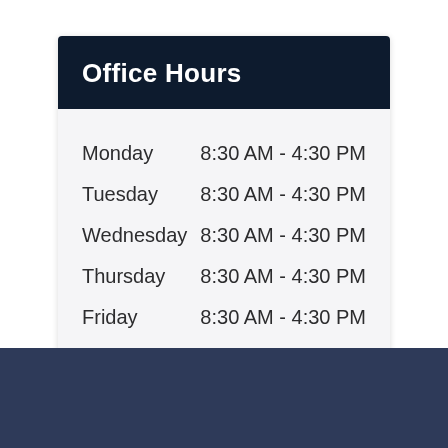Office Hours
| Day | Hours |
| --- | --- |
| Monday | 8:30 AM - 4:30 PM |
| Tuesday | 8:30 AM - 4:30 PM |
| Wednesday | 8:30 AM - 4:30 PM |
| Thursday | 8:30 AM - 4:30 PM |
| Friday | 8:30 AM - 4:30 PM |